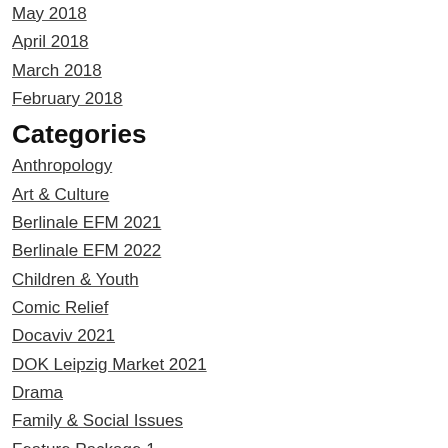May 2018
April 2018
March 2018
February 2018
Categories
Anthropology
Art & Culture
Berlinale EFM 2021
Berlinale EFM 2022
Children & Youth
Comic Relief
Docaviv 2021
DOK Leipzig Market 2021
Drama
Family & Social Issues
Feature Package 1
Feature Package 2
Feature Package 3
Health & Disabilities